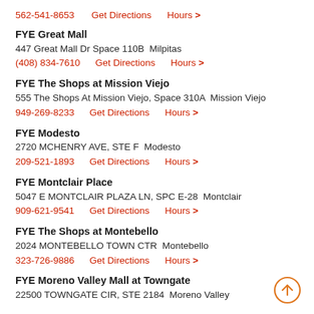562-541-8653   Get Directions   Hours >
FYE Great Mall
447 Great Mall Dr Space 110B  Milpitas
(408) 834-7610   Get Directions   Hours >
FYE The Shops at Mission Viejo
555 The Shops At Mission Viejo, Space 310A  Mission Viejo
949-269-8233   Get Directions   Hours >
FYE Modesto
2720 MCHENRY AVE, STE F  Modesto
209-521-1893   Get Directions   Hours >
FYE Montclair Place
5047 E MONTCLAIR PLAZA LN, SPC E-28  Montclair
909-621-9541   Get Directions   Hours >
FYE The Shops at Montebello
2024 MONTEBELLO TOWN CTR  Montebello
323-726-9886   Get Directions   Hours >
FYE Moreno Valley Mall at Towngate
22500 TOWNGATE CIR, STE 2184  Moreno Valley